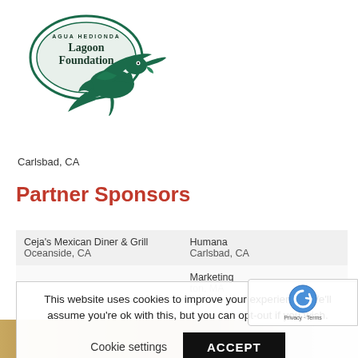[Figure (logo): Agua Hedionda Lagoon Foundation logo with pelican bird and oval text badge in dark green]
Carlsbad, CA
Partner Sponsors
| Ceja's Mexican Diner & Grill
Oceanside, CA | Humana
Carlsbad, CA |
|  | Marketing
ton, MA |
This website uses cookies to improve your experience. We'll assume you're ok with this, but you can opt-out if you wish.
Cookie settings   ACCEPT